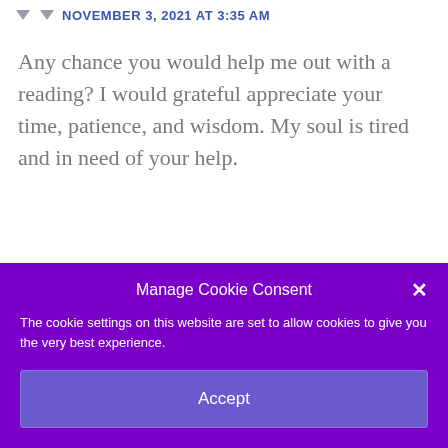NOVEMBER 3, 2021 AT 3:35 AM
Any chance you would help me out with a reading? I would grateful appreciate your time, patience, and wisdom. My soul is tired and in need of your help.
Manage Cookie Consent
The cookie settings on this website are set to allow cookies to give you the very best experience.
Accept